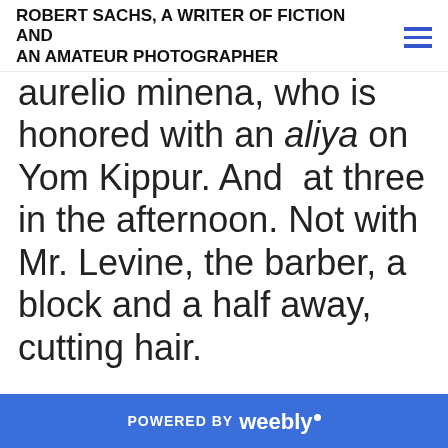ROBERT SACHS, A WRITER OF FICTION AND AN AMATEUR PHOTOGRAPHER
aurelio minena, who is honored with an aliya on Yom Kippur. And at three in the afternoon. Not with Mr. Levine, the barber, a block and a half away, cutting hair.

Mercifully, the twins' song was short. Cogan thanked them for the serenade,
POWERED BY weebly